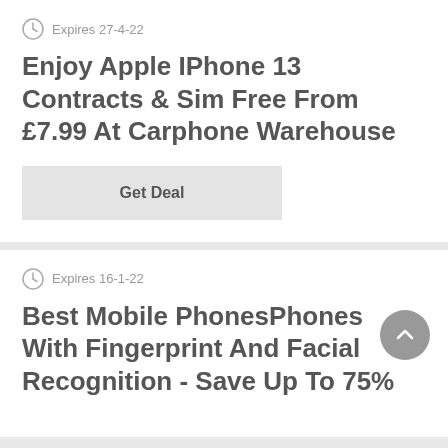Expires 27-4-22
Enjoy Apple IPhone 13 Contracts & Sim Free From £7.99 At Carphone Warehouse
Get Deal
Expires 16-1-22
Best Mobile PhonesPhones With Fingerprint And Facial Recognition - Save Up To 75%